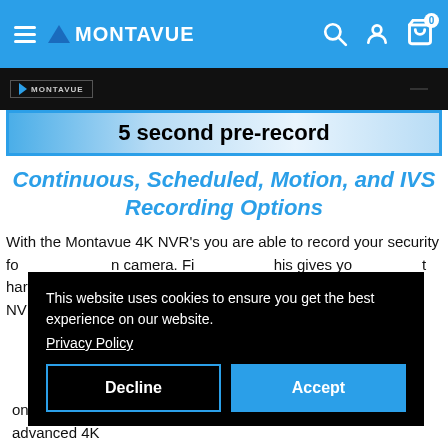MONTAVUE
[Figure (screenshot): Video player strip showing Montavue logo on black background with '5 second pre-record' banner below]
Continuous, Scheduled, Motion, and IVS Recording Options
With the Montavue 4K NVR's you are able to record your security fo... n camera. Fi... his gives yo... t hard drive sto... only du... k or away fro... he NVR will only record when the camera senses that motion. This advanced 4K
This website uses cookies to ensure you get the best experience on our website. Privacy Policy
only record when the camera senses that motion. This advanced 4K